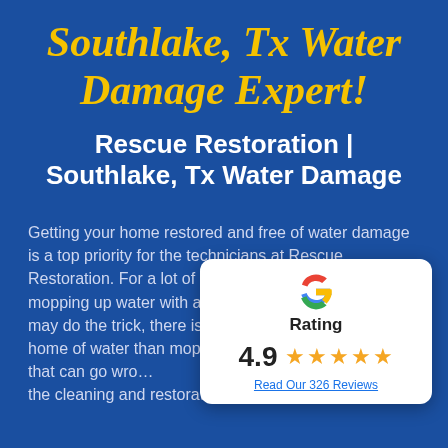Southlake, Tx Water Damage Expert!
Rescue Restoration | Southlake, Tx Water Damage
Getting your home restored and free of water damage is a top priority for the technicians at Rescue Restoration. For a lot of homeowners, they think that mopping up water with a towel will do the job. While it may do the trick, there is more that goes into ridding a home of water than mopping. There are many things that can go wrong when taking the cleaning and restoration process into your own
[Figure (infographic): Google Rating card showing 4.9 stars out of 5 with text 'Rating' and 'Read Our 326 Reviews']